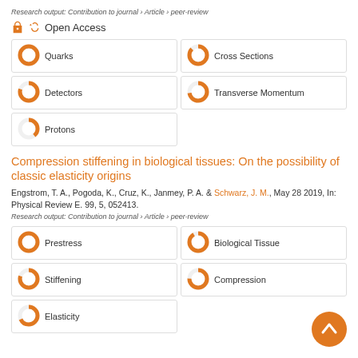Research output: Contribution to journal › Article › peer-review
Open Access
Quarks
Cross Sections
Detectors
Transverse Momentum
Protons
Compression stiffening in biological tissues: On the possibility of classic elasticity origins
Engstrom, T. A., Pogoda, K., Cruz, K., Janmey, P. A. & Schwarz, J. M., May 28 2019, In: Physical Review E. 99, 5, 052413.
Research output: Contribution to journal › Article › peer-review
Prestress
Biological Tissue
Stiffening
Compression
Elasticity